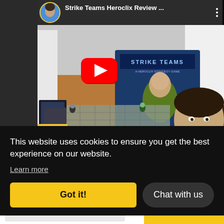[Figure (screenshot): YouTube video thumbnail showing a board game 'Strike Teams Heroclix' review. The video player shows a board game setup on a table with miniature figurines, cards, and a game box featuring comic-book style art. A YouTube play button overlay is visible. The video top bar shows a circular avatar of a man, the title 'Strike Teams Heroclix Review ...' and a three-dot menu.]
This website uses cookies to ensure you get the best experience on our website.
Learn more
Got it!
Chat with us